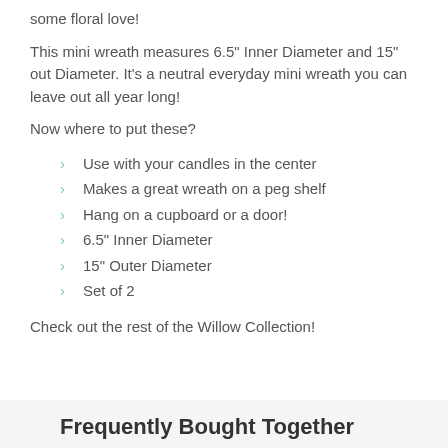some floral love!
This mini wreath measures 6.5" Inner Diameter and 15" out Diameter. It's a neutral everyday mini wreath you can leave out all year long!
Now where to put these?
Use with your candles in the center
Makes a great wreath on a peg shelf
Hang on a cupboard or a door!
6.5" Inner Diameter
15" Outer Diameter
Set of 2
Check out the rest of the Willow Collection!
Frequently Bought Together